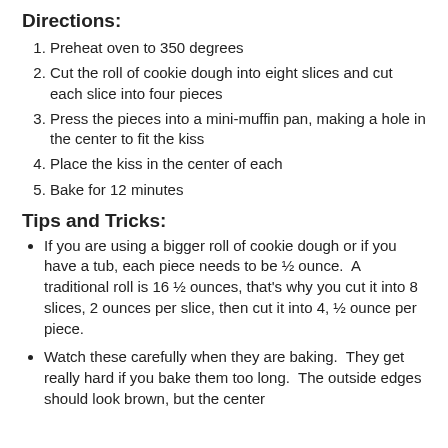Directions:
Preheat oven to 350 degrees
Cut the roll of cookie dough into eight slices and cut each slice into four pieces
Press the pieces into a mini-muffin pan, making a hole in the center to fit the kiss
Place the kiss in the center of each
Bake for 12 minutes
Tips and Tricks:
If you are using a bigger roll of cookie dough or if you have a tub, each piece needs to be ½ ounce.  A traditional roll is 16 ½ ounces, that's why you cut it into 8 slices, 2 ounces per slice, then cut it into 4, ½ ounce per piece.
Watch these carefully when they are baking.  They get really hard if you bake them too long.  The outside edges should look brown, but the center